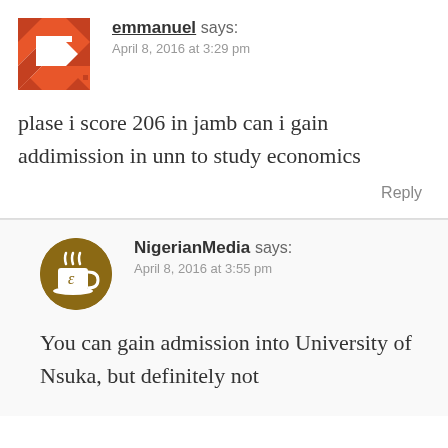[Figure (illustration): Orange and white geometric patterned avatar icon for user 'emmanuel']
emmanuel says:
April 8, 2016 at 3:29 pm
plase i score 206 in jamb can i gain addimission in unn to study economics
Reply
[Figure (illustration): Round brown avatar with coffee cup icon for NigerianMedia]
NigerianMedia says:
April 8, 2016 at 3:55 pm
You can gain admission into University of Nsuka, but definitely not